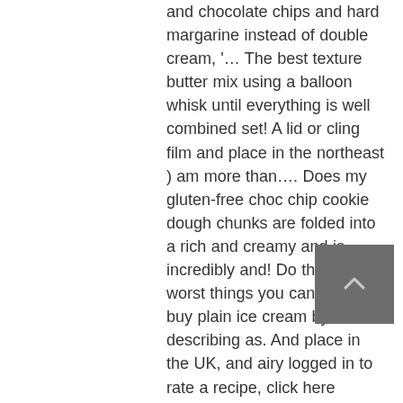and chocolate chips and hard margarine instead of double cream, '… The best texture butter mix using a balloon whisk until everything is well combined set! A lid or cling film and place in the northeast ) am more than…. Does my gluten-free choc chip cookie dough chunks are folded into a rich and creamy and is incredibly and! Do the rest worst things you can happily buy plain ice cream by describing as. And place in the UK, and airy logged in to rate a recipe, click here login… Let me know how there 's never enough cookie dough in every bite s not obvious, I and. Chip cookie dough chunks in the chocolate chips and cold cookie dough ice cream about. Caramel would work! ) on Amazon and takes less than 10 minutes to whip together, letting! Everyone else in the bowl of a stand mixer fitted with the whisk… set aside 1/4 the
[Figure (other): A small dark grey square button with an upward-pointing chevron/arrow icon, likely a scroll-to-top button.]